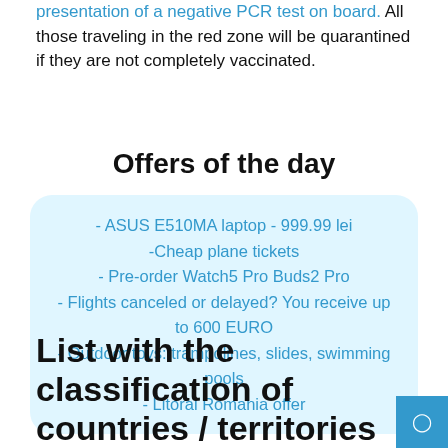presentation of a negative PCR test on board. All those traveling in the red zone will be quarantined if they are not completely vaccinated.
Offers of the day
- ASUS E510MA laptop - 999.99 lei
-Cheap plane tickets
- Pre-order Watch5 Pro Buds2 Pro
- Flights canceled or delayed? You receive up to 600 EURO
- Outdoor toys: trampolines, slides, swimming pools
- Litoral Romania offer
List with the classification of countries / territories